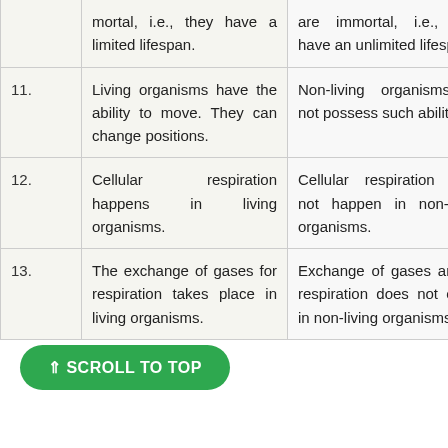| No. | Living Organisms | Non-living Things |
| --- | --- | --- |
|  | mortal, i.e., they have a limited lifespan. | are immortal, i.e., they have an unlimited lifespan. |
| 11. | Living organisms have the ability to move. They can change positions. | Non-living organisms do not possess such abilities. |
| 12. | Cellular respiration happens in living organisms. | Cellular respiration does not happen in non-living organisms. |
| 13. | The exchange of gases for respiration takes... | Exchange of gases and or respiration does not occur in non-... |